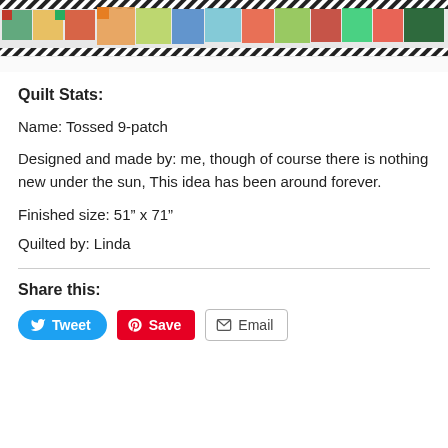[Figure (photo): Top portion of a colorful patchwork quilt with black and white striped border, showing various fabric squares in red, green, orange, blue, and other colors against a white fluffy background.]
Quilt Stats:
Name: Tossed 9-patch
Designed and made by: me, though of course there is nothing new under the sun, This idea has been around forever.
Finished size: 51” x 71”
Quilted by: Linda
Share this:
Tweet  Save  Email